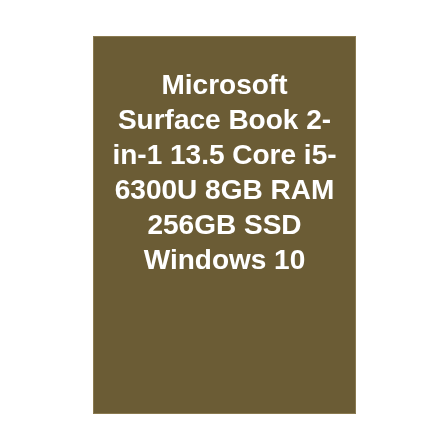Microsoft Surface Book 2-in-1 13.5 Core i5-6300U 8GB RAM 256GB SSD Windows 10